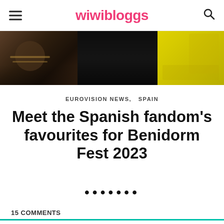wiwibloggs
[Figure (photo): Horizontal image strip showing three partial photos: a woman with jewelry/chains on the left, a dark center panel, and a woman in yellow on the right]
EUROVISION NEWS,  SPAIN
Meet the Spanish fandom's favourites for Benidorm Fest 2023
• • • • • • •
15 COMMENTS